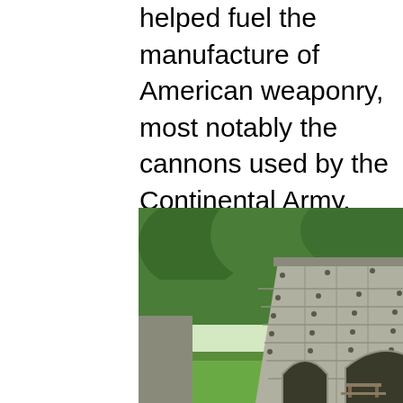helped fuel the manufacture of American weaponry, most notably the cannons used by the Continental Army, Union weapons for the Civil War, and railroad car wheels. Tour begins when you arrive. 1 hour–0.4 mile
[Figure (photo): Photograph of a historic stone blast furnace structure with Gothic arch openings at its base, surrounded by green trees and grass. The furnace is a large, tapered stone tower made of light grey stone blocks with small holes throughout.]